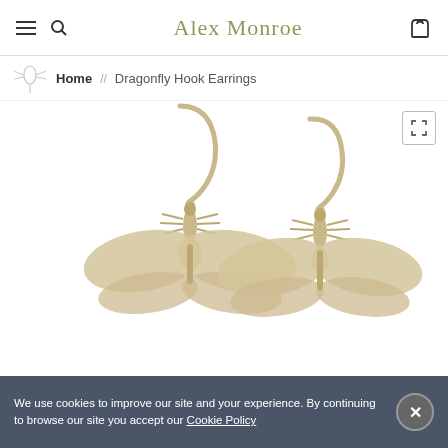Alex Monroe
Home // Dragonfly Hook Earrings
[Figure (photo): Two silver dragonfly hook earrings displayed side by side on a white background. Each earring features a silver hook and a detailed dragonfly charm with outstretched wings.]
We use cookies to improve our site and your experience. By continuing to browse our site you accept our Cookie Policy